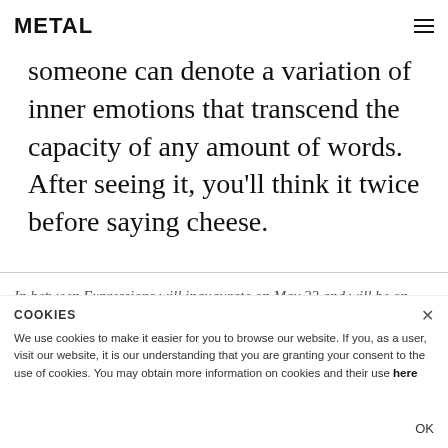METAL
someone can denote a variation of inner emotions that transcend the capacity of any amount of words. After seeing it, you'll think it twice before saying cheese.
In between Expressions will inaugurate on May 22 and will be on view until October 7 at the Getty Museum, 1200 Ge...
COOKIES
We use cookies to make it easier for you to browse our website. If you, as a user, visit our website, it is our understanding that you are granting your consent to the use of cookies. You may obtain more information on cookies and their use here
OK